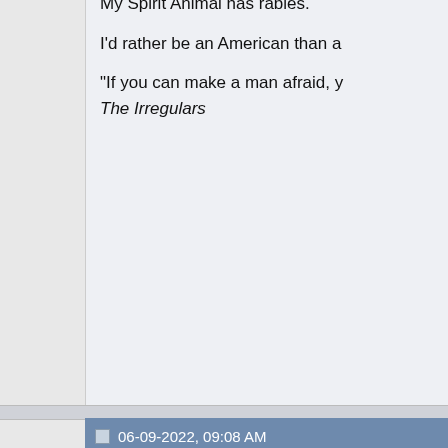accidents or misunderstandings
Making good people helpless w
Freedom isn't free.
"Attitude is the paintbrush that c
My Spirit Animal has rabies.
I'd rather be an American than a
"If you can make a man afraid, y The Irregulars
06-09-2022, 09:08 AM
Full Otto
Senior Member
[Figure (illustration): Avatar image of a Simpsons-style character (Homer Simpson) holding a large black gun/weapon]
Originally Posted by [user] I think you are lumping t the Amish. I have a step putting a plastic bag ove him to death for the fun not Amish. Do the Amish per? Yes that's a fact, bu animals doesn't make m never stamp it out till th